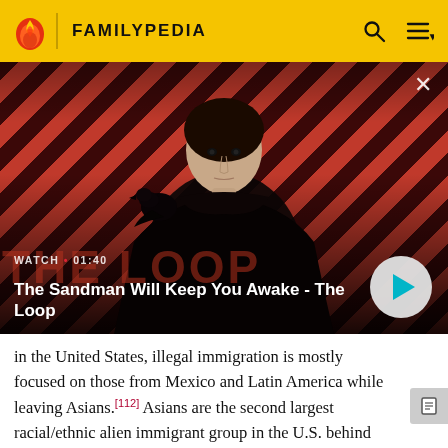FAMILYPEDIA
[Figure (screenshot): Video thumbnail showing a dark-cloaked figure with a bird on shoulder against red and dark diagonal striped background. Title reads 'The Sandman Will Keep You Awake - The Loop'. Watch time shown as 01:40.]
in the United States, illegal immigration is mostly focused on those from Mexico and Latin America while leaving Asians.[112] Asians are the second largest racial/ethnic alien immigrant group in the U.S. behind Hispanics and Latinos.[113] While the majority of Asian immigrants to the